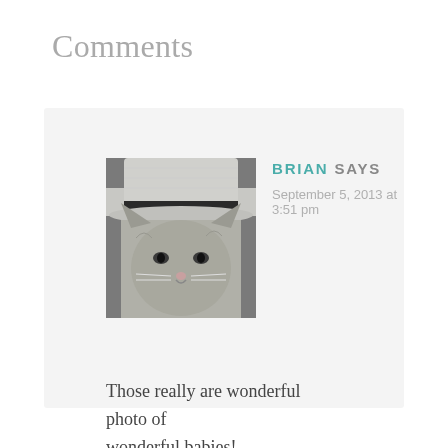Comments
[Figure (photo): Avatar photo of a cat wearing a striped fedora hat, grayscale tones]
BRIAN SAYS
September 5, 2013 at 3:51 pm
Those really are wonderful photo of wonderful babies!
Reply